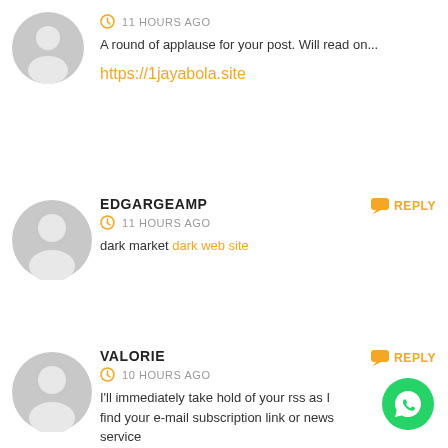[Figure (illustration): Gray placeholder user avatar (circle with silhouette), first comment]
11 HOURS AGO
A round of applause for your post. Will read on...
https://1jayabola.site
[Figure (illustration): Gray placeholder user avatar (circle with silhouette), second comment - EDGARGEAMP]
EDGARGEAMP
REPLY
11 HOURS AGO
dark market dark web site
[Figure (illustration): Gray placeholder user avatar (circle with silhouette), third comment - VALORIE]
VALORIE
REPLY
10 HOURS AGO
I'll immediately take hold of your rss as I find your e-mail subscription link or news service